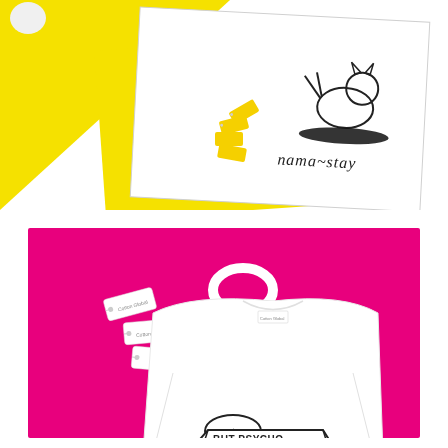[Figure (photo): Product photo on white and yellow background: a folded white t-shirt with 'nama~stay' text and a yoga cat illustration, with yellow luggage tags, on a yellow and white diagonal split background. A dog paw is visible in the upper left corner.]
[Figure (photo): Product photo on bright pink background: a folded white t-shirt with 'cute BUT PSYCHO' text in a speech bubble design, with a white halo ring and small white luggage tags scattered nearby.]